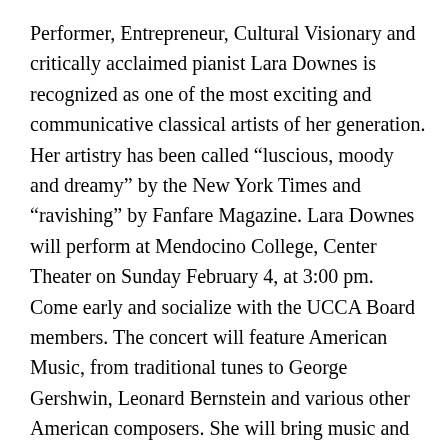Performer, Entrepreneur, Cultural Visionary and critically acclaimed pianist Lara Downes is recognized as one of the most exciting and communicative classical artists of her generation. Her artistry has been called “luscious, moody and dreamy” by the New York Times and “ravishing” by Fanfare Magazine. Lara Downes will perform at Mendocino College, Center Theater on Sunday February 4, at 3:00 pm. Come early and socialize with the UCCA Board members. The concert will feature American Music, from traditional tunes to George Gershwin, Leonard Bernstein and various other American composers. She will bring music and songs that reflect our American life, which as Lara says: “has a complicated history, full of contrasts and contradictions, just like my own, and I’ve learned that what is most beautiful about me comes down to my contradictions and contrasts.” She is a laureate of the 2016 Sphinx Medal of Excellence award and was